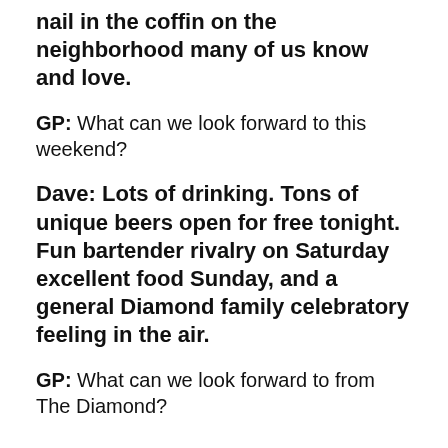nail in the coffin on the neighborhood many of us know and love.
GP: What can we look forward to this weekend?
Dave: Lots of drinking. Tons of unique beers open for free tonight. Fun bartender rivalry on Saturday excellent food Sunday, and a general Diamond family celebratory feeling in the air.
GP: What can we look forward to from The Diamond?